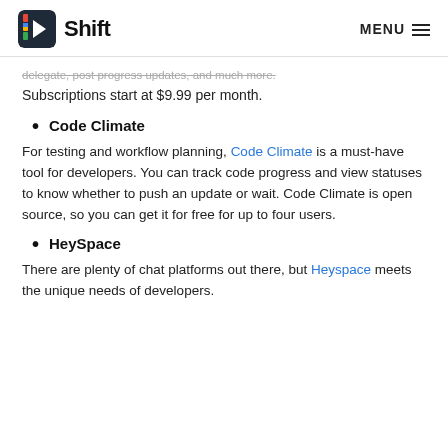Shift   MENU
delegate, post progress updates, and much more. Subscriptions start at $9.99 per month.
Code Climate
For testing and workflow planning, Code Climate is a must-have tool for developers. You can track code progress and view statuses to know whether to push an update or wait. Code Climate is open source, so you can get it for free for up to four users.
HeySpace
There are plenty of chat platforms out there, but Heyspace meets the unique needs of developers.